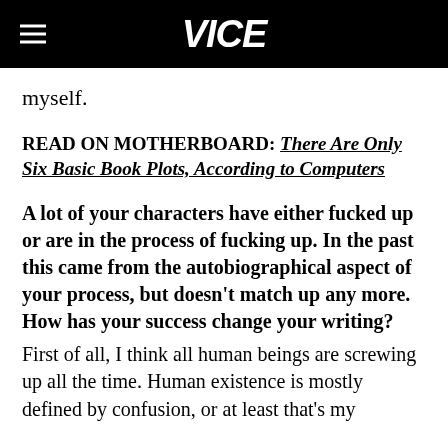VICE
myself.
READ ON MOTHERBOARD: There Are Only Six Basic Book Plots, According to Computers
A lot of your characters have either fucked up or are in the process of fucking up. In the past this came from the autobiographical aspect of your process, but doesn't match up any more. How has your success change your writing? First of all, I think all human beings are screwing up all the time. Human existence is mostly defined by confusion, or at least that's my